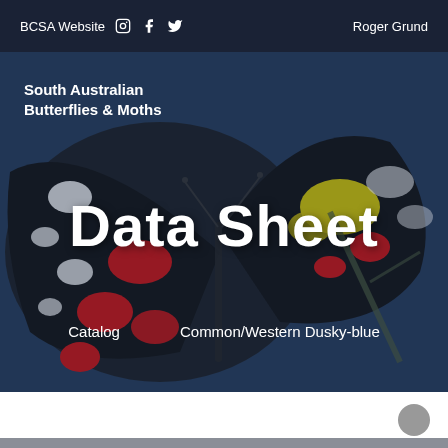BCSA Website  Roger Grund
South Australian Butterflies & Moths
Data Sheet
Catalog   Common/Western Dusky-blue
[Figure (photo): Close-up photograph of a colorful butterfly with red, white, yellow, and black wing patterns against a dark blue background with foliage]